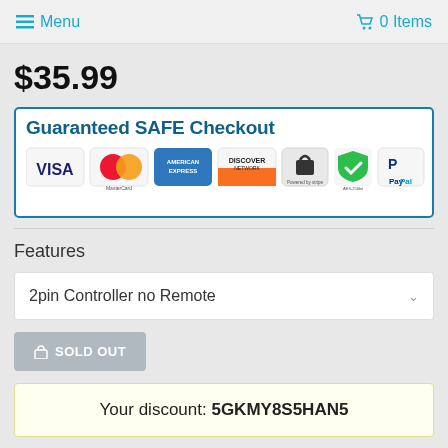☰ Menu   🛒 0 Items
$35.99
[Figure (infographic): Guaranteed SAFE Checkout banner with payment logos: VISA, MasterCard, American Express, Discover Network, Powered by Stripe, AES-256bit security shield, PayPal]
Features
2pin Controller no Remote
SOLD OUT
Your discount: 5GKMY8S5HAN5